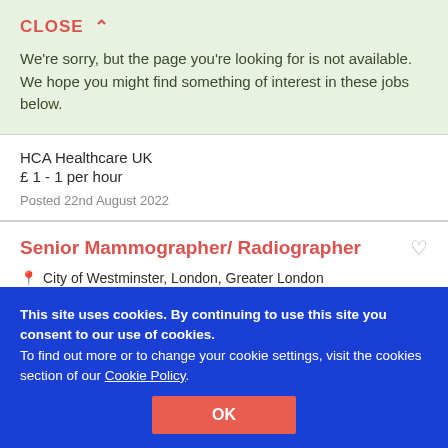CLOSE ∧
We're sorry, but the page you're looking for is not available. We hope you might find something of interest in these jobs below.
HCA Healthcare UK
£ 1 - 1 per hour
Posted 22nd August 2022
Senior Mammographer/ Radiographer
City of Westminster, London, Greater London
HCA Healthcare UK
£ 1 - 1 per hour
This site uses cookies. By continuing to use this site you consent to our use of cookies.
To find out more or to change your cookie settings, visit the cookies section of our Cookie Policy.
OK